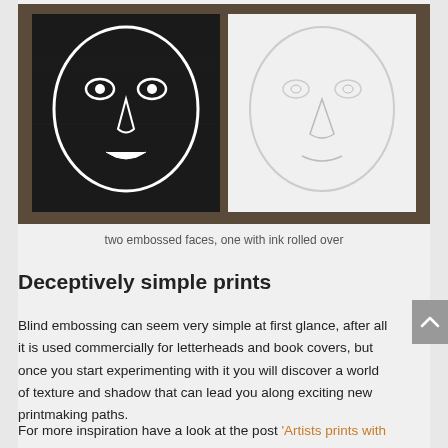[Figure (photo): Two embossed face prints side by side on a dark wooden surface. The left face is a black ink print showing a bold outlined face with eyes and smile. The right face is a white embossed relief of a similar face without ink.]
two embossed faces, one with ink rolled over
Deceptively simple prints
Blind embossing can seem very simple at first glance, after all it is used commercially for letterheads and book covers, but once you start experimenting with it you will discover a world of texture and shadow that can lead you along exciting new printmaking paths.
For more inspiration have a look at the post 'Artists prints with